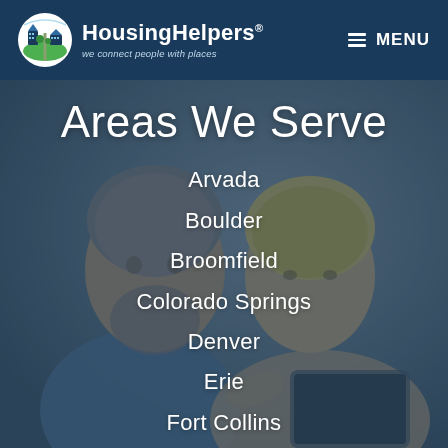HousingHelpers® — we connect people with places — MENU
[Figure (photo): Background photo of a middle-aged man with gray beard and a blonde woman looking together at a tablet device, with a blue-tinted dark overlay]
Areas We Serve
Arvada
Boulder
Broomfield
Colorado Springs
Denver
Erie
Fort Collins